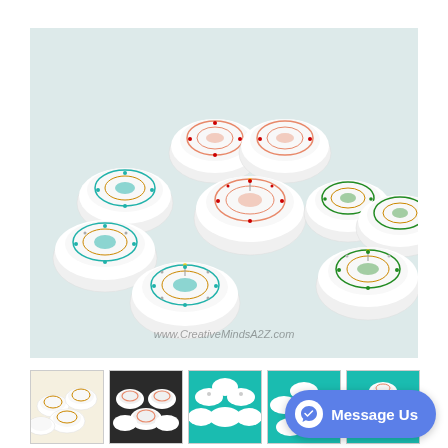[Figure (photo): Large product photo showing three groups of henna-decorated floating candles on a light blue/grey surface. Left group has teal/green and gold henna patterns with beads, center group has coral/pink henna patterns with red gem accents, right group has green and gold henna patterns. Watermark text reads www.CreativeMindsA2Z.com at bottom center.]
[Figure (photo): Thumbnail 1: Small floating candles scattered with gold henna decoration on white background]
[Figure (photo): Thumbnail 2: Floating candles with pink/coral henna patterns in dark pan]
[Figure (photo): Thumbnail 3: White floating candles with minimal decoration on teal plate]
[Figure (photo): Thumbnail 4: Floating candles arranged in flower pattern on teal plate]
[Figure (photo): Thumbnail 5: Floating candles with henna decoration arranged in flower pattern on teal plate]
Set of 6 henna decorated floating candles set/Eid Diwali decor/Bollywood Pakistani wedding/Favor